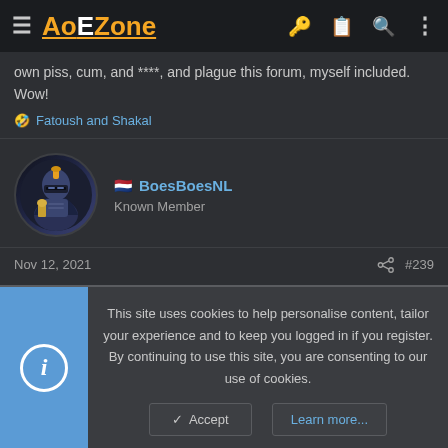AoEZone
own piss, cum, and ****, and plague this forum, myself included. Wow!
🤣 Fatoush and Shakal
BoesBoesNL
Known Member
Nov 12, 2021   #239
Deer luring should not be possible
👍 Bandana_ and gambasimo95
This site uses cookies to help personalise content, tailor your experience and to keep you logged in if you register.
By continuing to use this site, you are consenting to our use of cookies.
✓ Accept   Learn more...